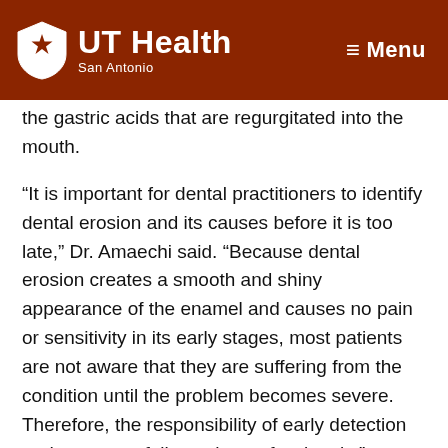UT Health San Antonio — Menu
the gastric acids that are regurgitated into the mouth.
“It is important for dental practitioners to identify dental erosion and its causes before it is too late,” Dr. Amaechi said. “Because dental erosion creates a smooth and shiny appearance of the enamel and causes no pain or sensitivity in its early stages, most patients are not aware that they are suffering from the condition until the problem becomes severe. Therefore, the responsibility of early detection and treatment falls on the professionals.”